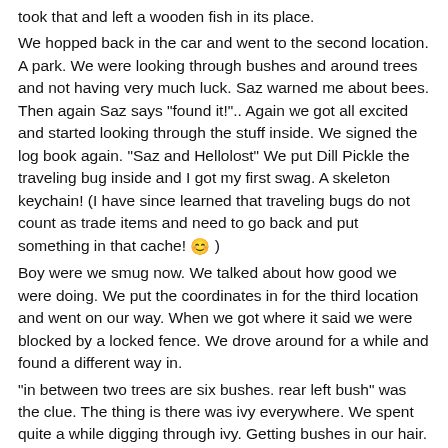took that and left a wooden fish in its place.
We hopped back in the car and went to the second location. A park. We were looking through bushes and around trees and not having very much luck. Saz warned me about bees. Then again Saz says "found it!".. Again we got all excited and started looking through the stuff inside. We signed the log book again. "Saz and Hellolost" We put Dill Pickle the traveling bug inside and I got my first swag. A skeleton keychain! (I have since learned that traveling bugs do not count as trade items and need to go back and put something in that cache! 😊 )
Boy were we smug now. We talked about how good we were doing. We put the coordinates in for the third location and went on our way. When we got where it said we were blocked by a locked fence. We drove around for a while and found a different way in.
"in between two trees are six bushes. rear left bush" was the clue. The thing is there was ivy everywhere. We spent quite a while digging through ivy. Getting bushes in our hair. Crawling around on our hands and knees. We finally gave up. We couldn't find it That is what being smug got us.
We hopped back in the car sweaty and dirty and disappointed. We decided to stop and get something to eat before we moved on to the next cache.
The next cache was in another park. After searching a while AGAIN Saz says "found it" (I was beginning to wonder if I was blind)This one was a